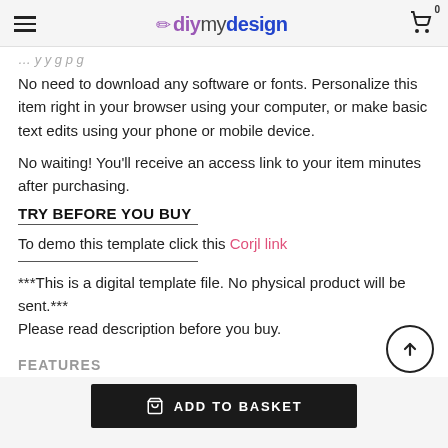diymydesign
No need to download any software or fonts. Personalize this item right in your browser using your computer, or make basic text edits using your phone or mobile device.
No waiting! You'll receive an access link to your item minutes after purchasing.
TRY BEFORE YOU BUY
To demo this template click this Corjl link
***This is a digital template file. No physical product will be sent.***
Please read description before you buy.
FEATURES